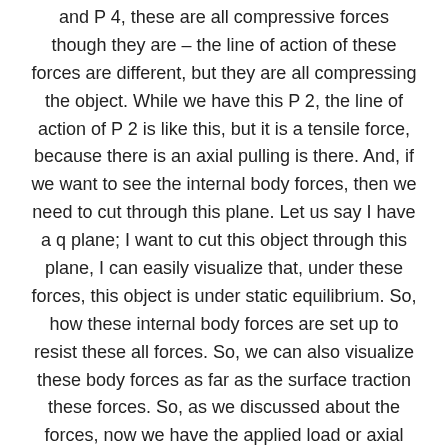and P 4, these are all compressive forces though they are – the line of action of these forces are different, but they are all compressing the object. While we have this P 2, the line of action of P 2 is like this, but it is a tensile force, because there is an axial pulling is there. And, if we want to see the internal body forces, then we need to cut through this plane. Let us say I have a q plane; I want to cut this object through this plane, I can easily visualize that, under these forces, this object is under static equilibrium. So, how these internal body forces are set up to resist these all forces. So, we can also visualize these body forces as far as the surface traction these forces. So, as we discussed about the forces, now we have the applied load or axial load. Axial